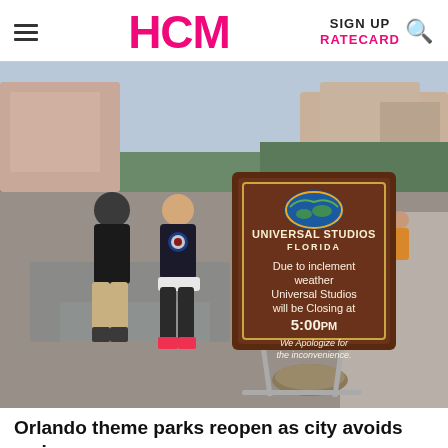HCM | SIGN UP | RATECARD
[Figure (photo): Photo of Universal Studios Florida entrance area showing a sign on a stand that reads: 'Due to inclement weather Universal Studios will be Closing at 5:00PM We Apologize for the inconvenience.' Two people walk in the background on a wet pavement. A sandbag sits at the base of the sign.]
Orlando theme parks reopen as city avoids major